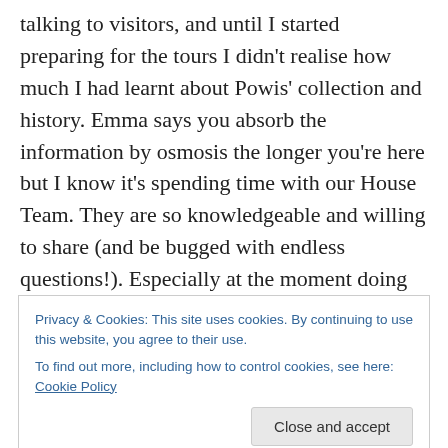talking to visitors, and until I started preparing for the tours I didn't realise how much I had learnt about Powis' collection and history. Emma says you absorb the information by osmosis the longer you're here but I know it's spending time with our House Team. They are so knowledgeable and willing to share (and be bugged with endless questions!).  Especially at the moment doing the winter clean; me and Emma have spent days sat on the scaffold cleaning items while I ask questions about the room, a particular objects or the family, and she seems to know every answer! I guess that happens after ten years
Privacy & Cookies: This site uses cookies. By continuing to use this website, you agree to their use.
To find out more, including how to control cookies, see here: Cookie Policy
[Figure (photo): Partial photo visible at the bottom of the page showing green foliage and two white/cream rounded shapes.]